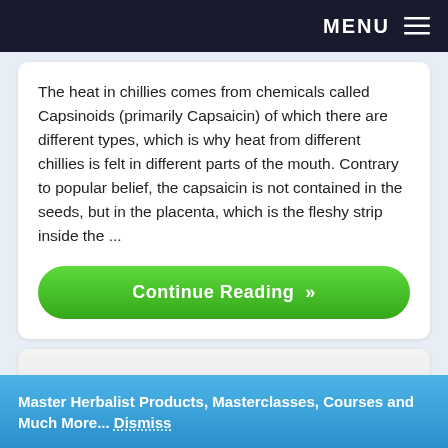MENU
The heat in chillies comes from chemicals called Capsinoids (primarily Capsaicin) of which there are different types, which is why heat from different chillies is felt in different parts of the mouth. Contrary to popular belief, the capsaicin is not contained in the seeds, but in the placenta, which is the fleshy strip inside the ...
Continue Reading »
Apple Cider Vinegar
Master Herbalist Products, Masterclasses, Courses and Much More... Dismiss